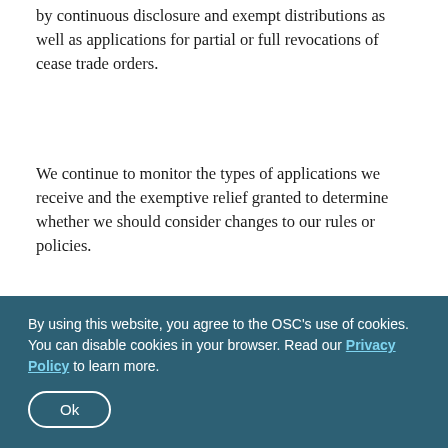by continuous disclosure and exempt distributions as well as applications for partial or full revocations of cease trade orders.
We continue to monitor the types of applications we receive and the exemptive relief granted to determine whether we should consider changes to our rules or policies.
Key takeaways from our exemptive relief work in fiscal 2016 are set out below.
Revocation of a cease trade order that has been breached -- If an issuer has breached the terms of a
By using this website, you agree to the OSC's use of cookies. You can disable cookies in your browser. Read our Privacy Policy to learn more.